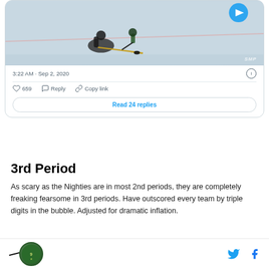[Figure (screenshot): Hockey game screenshot from a tweet showing players on ice with sticks, SMP watermark in bottom right]
3:22 AM · Sep 2, 2020
659  Reply  Copy link
Read 24 replies
3rd Period
As scary as the Nighties are in most 2nd periods, they are completely freaking fearsome in 3rd periods. Have outscored every team by triple digits in the bubble. Adjusted for dramatic inflation.